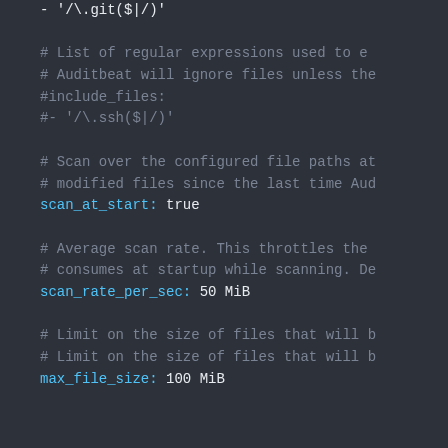- '/\.git($|/)'

# List of regular expressions used to e
# Auditbeat will ignore files unless the
#include_files:
#- '/\.ssh($|/)'

# Scan over the configured file paths at
# modified files since the last time Aud
scan_at_start: true

# Average scan rate. This throttles the
# consumes at startup while scanning. De
scan_rate_per_sec: 50 MiB

# Limit on the size of files that will b
# Limit on the size of files that will b
max_file_size: 100 MiB